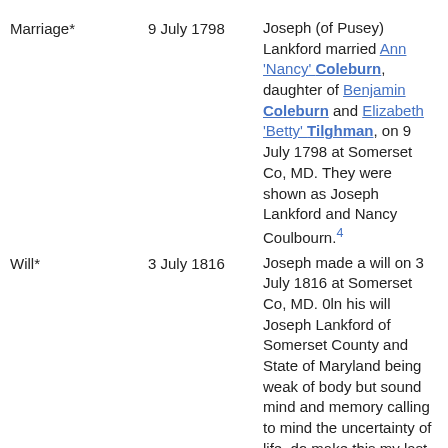Marriage*	9 July 1798	Joseph (of Pusey) Lankford married Ann 'Nancy' Coleburn, daughter of Benjamin Coleburn and Elizabeth 'Betty' Tilghman, on 9 July 1798 at Somerset Co, MD. They were shown as Joseph Lankford and Nancy Coulbourn.4
Will*	3 July 1816	Joseph made a will on 3 July 1816 at Somerset Co, MD. 0ln his will Joseph Lankford of Somerset County and State of Maryland being weak of body but sound mind and memory calling to mind the uncertainty of life, do make this my last will